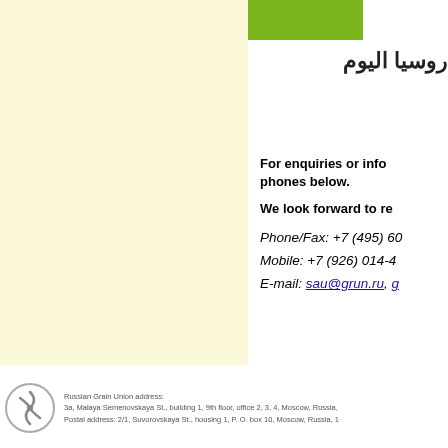[Figure (logo): Green rectangular bar, part of Russia Today (روسيا اليوم) logo]
روسيا اليوم
For enquiries or info phones below. We look forward to re
Phone/Fax: +7 (495) 60
Mobile: +7 (926) 014-4
E-mail: sau@grun.ru, g
Russian Grain Union address: 3a, Malaya Semenovskaya St., building 1, 9th floor, office 2, 3, 4, Moscow, Russia, Postal address: 2/1, Suvorovskaya St., housing 1, P. O. box 10, Moscow, Russia, 1